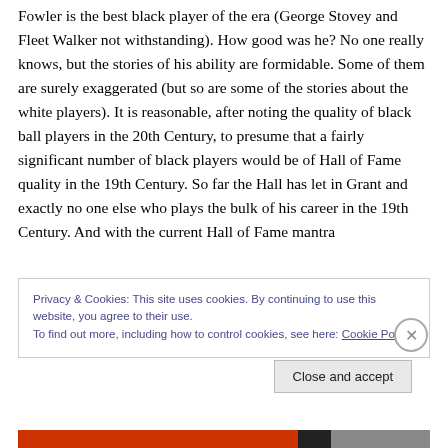Fowler is the best black player of the era (George Stovey and Fleet Walker not withstanding). How good was he? No one really knows, but the stories of his ability are formidable. Some of them are surely exaggerated (but so are some of the stories about the white players). It is reasonable, after noting the quality of black ball players in the 20th Century, to presume that a fairly significant number of black players would be of Hall of Fame quality in the 19th Century. So far the Hall has let in Grant and exactly no one else who plays the bulk of his career in the 19th Century. And with the current Hall of Fame mantra
Privacy & Cookies: This site uses cookies. By continuing to use this website, you agree to their use.
To find out more, including how to control cookies, see here: Cookie Policy
Close and accept